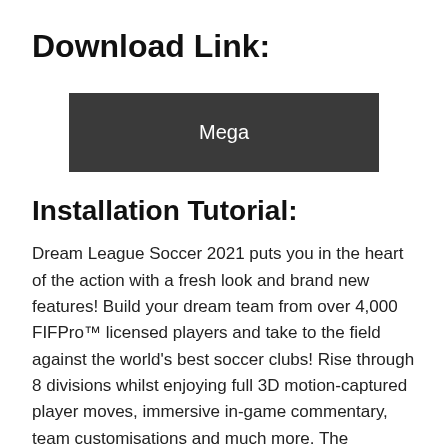Download Link:
[Figure (other): Dark grey button labeled 'Mega']
Installation Tutorial:
Dream League Soccer 2021 puts you in the heart of the action with a fresh look and brand new features! Build your dream team from over 4,000 FIFPro™ licensed players and take to the field against the world's best soccer clubs! Rise through 8 divisions whilst enjoying full 3D motion-captured player moves, immersive in-game commentary, team customisations and much more. The beautiful game has never been so